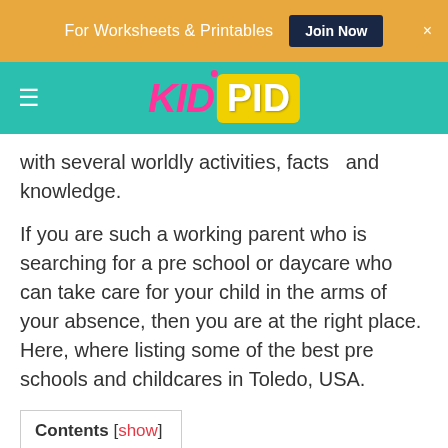For Worksheets & Printables | Join Now
[Figure (logo): KidPid logo with navigation bar on teal background]
with several worldly activities, facts  and knowledge.
If you are such a working parent who is searching for a pre school or daycare who can take care for your child in the arms of your absence, then you are at the right place. Here, where listing some of the best pre schools and childcares in Toledo, USA.
Contents [show]